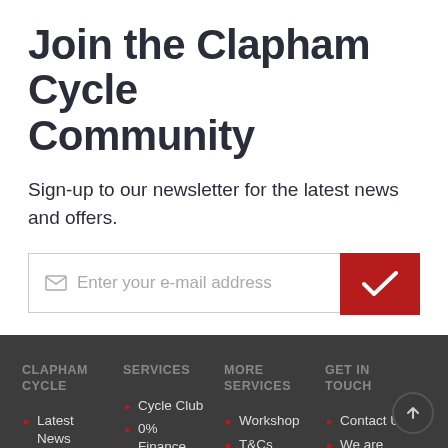Join the Clapham Cycle Community
Sign-up to our newsletter for the latest news and offers.
Enter your e-mail address
CLAPHAM CYCLE
SERVICES
MORE SERVICES
GET IN TOUCH
Latest News
Cycle Club
0% Finance
Workshop
T&Cs
Contact Us
We are